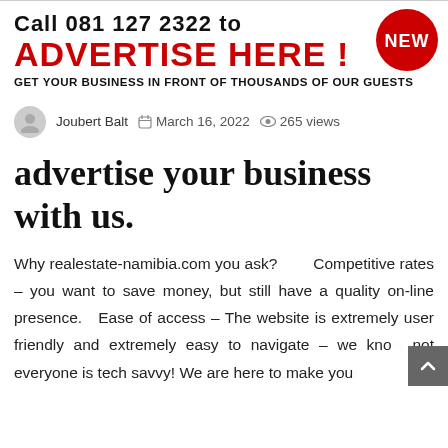[Figure (infographic): Advertisement banner with red and black text: 'Call 081 127 2322 to ADVERTISE HERE!' with a red NEW badge in the top right corner and subtext 'GET YOUR BUSINESS IN FRONT OF THOUSANDS OF OUR GUESTS']
Joubert Balt   March 16, 2022   265 views
advertise your business with us.
Why realestate-namibia.com you ask?        Competitive rates – you want to save money, but still have a quality on-line presence.   Ease of access – The website is extremely user friendly and extremely easy to navigate – we know not everyone is tech savvy! We are here to make your